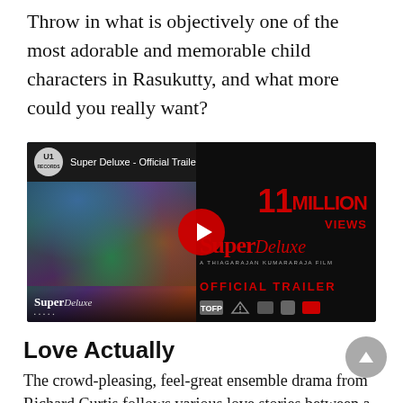Throw in what is objectively one of the most adorable and memorable child characters in Rasukutty, and what more could you really want?
[Figure (screenshot): YouTube video thumbnail for 'Super Deluxe - Official Trailer | Yuva...' showing 11 MILLION VIEWS, with movie poster on left half and red Super Deluxe branding on right half, with red play button overlay in center]
Love Actually
The crowd-pleasing, feel-great ensemble drama from Richard Curtis follows various love stories between a